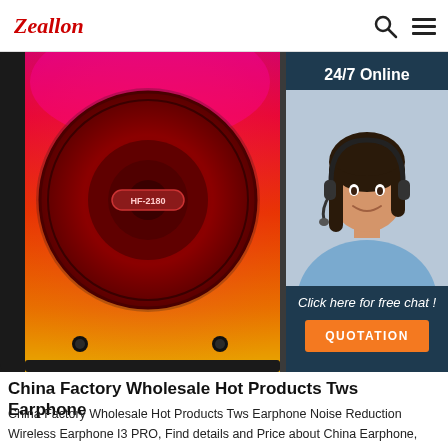Zeallon
[Figure (photo): Close-up photo of a colorful portable speaker with red-to-orange gradient grille and a large circular speaker driver, with model label HF-2180 visible. Bottom of speaker shows two black screw holes. Black rubber housing visible on sides.]
[Figure (infographic): Chat widget overlay on dark blue/teal background showing '24/7 Online' text, a smiling female customer service agent wearing a headset, 'Click here for free chat!' italic text, and an orange 'QUOTATION' button.]
China Factory Wholesale Hot Products Tws Earphone
China Factory Wholesale Hot Products Tws Earphone Noise Reduction Wireless Earphone I3 PRO, Find details and Price about China Earphone, Earbuds from Factory Wholesale Hot Products Tws Earphone Noise Reduction Wireless Earphone I3 PRO - Shenzhen Chengruyuan Technology Co., Ltd.